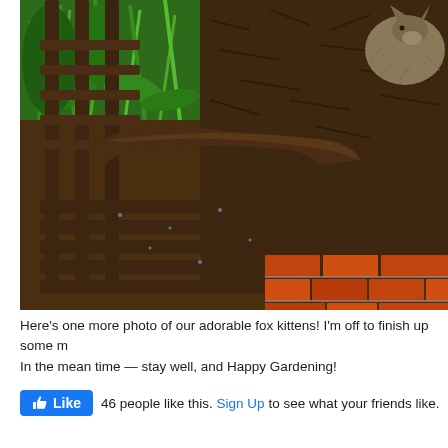[Figure (photo): Outdoor garden photo showing a dark wooden slatted bench/chair with curved armrest. A brick patio is visible to the right. Green plants and mulch are in the background. A small animal (fox kitten) is partially visible in the upper right corner among the mulch and plants.]
Here's one more photo of our adorable fox kittens! I'm off to finish up some m... In the mean time — stay well, and Happy Gardening!
46 people like this. Sign Up to see what your friends like.